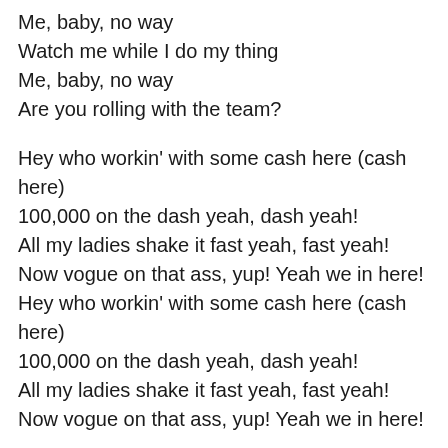Me, baby, no way
Watch me while I do my thing
Me, baby, no way
Are you rolling with the team?

Hey who workin' with some cash here (cash here)
100,000 on the dash yeah, dash yeah!
All my ladies shake it fast yeah, fast yeah!
Now vogue on that ass, yup! Yeah we in here!
Hey who workin' with some cash here (cash here)
100,000 on the dash yeah, dash yeah!
All my ladies shake it fast yeah, fast yeah!
Now vogue on that ass, yup! Yeah we in here!

Baby I got me
Baby I got me
And that's all I need
Yeah that's all I need
Baby I got...